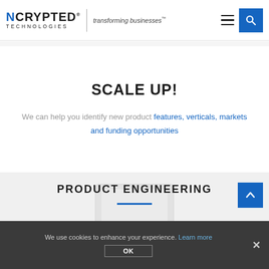NCRYPTed TECHNOLOGIES® transforming businesses™
SCALE UP!
We can help you identify new product features, verticals, markets and funding opportunities
PRODUCT ENGINEERING
[Figure (illustration): Laptop/device illustration watermark in gray section background]
We use cookies to enhance your experience. Learn more OK